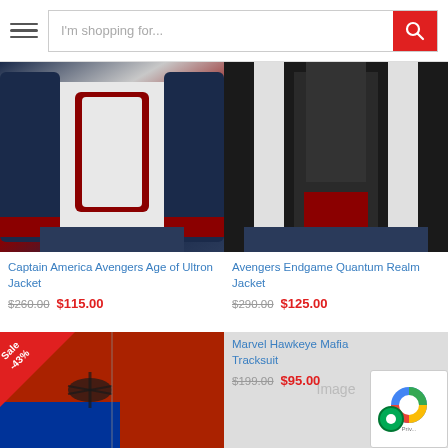I'm shopping for...
[Figure (photo): Captain America Avengers Age of Ultron Jacket product photo showing white, navy blue and red leather jacket]
Captain America Avengers Age of Ultron Jacket
$260.00  $115.00
[Figure (photo): Avengers Endgame Quantum Realm Jacket product photo showing black, white and red leather jacket]
Avengers Endgame Quantum Realm Jacket
$290.00  $125.00
[Figure (photo): Spider-Man red and blue leather jacket with spider logo, Sale -43% badge]
[Figure (photo): Marvel Hawkeye Mafia Tracksuit product image (partially visible)]
Marvel Hawkeye Mafia Tracksuit
$199.00  $95.00